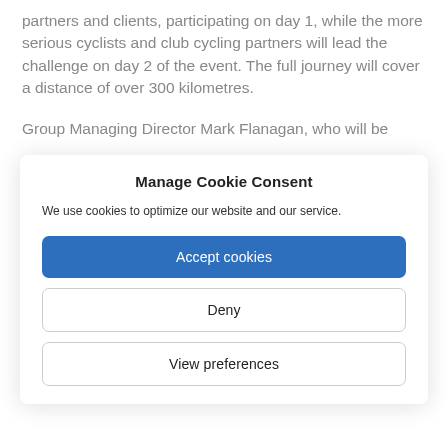partners and clients, participating on day 1, while the more serious cyclists and club cycling partners will lead the challenge on day 2 of the event. The full journey will cover a distance of over 300 kilometres.
Group Managing Director Mark Flanagan, who will be
Manage Cookie Consent
We use cookies to optimize our website and our service.
Accept cookies
Deny
View preferences